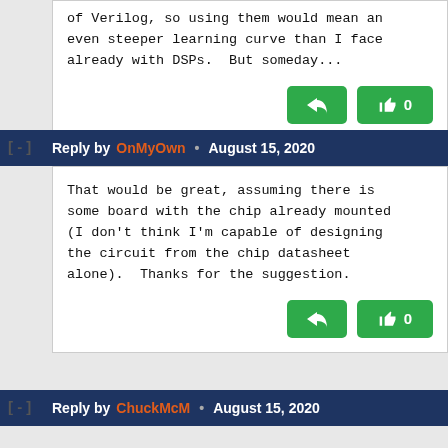of Verilog, so using them would mean an even steeper learning curve than I face already with DSPs.  But someday...
Reply by OnMyOwn • August 15, 2020
That would be great, assuming there is some board with the chip already mounted (I don't think I'm capable of designing the circuit from the chip datasheet alone).  Thanks for the suggestion.
Reply by ChuckMcM • August 15, 2020